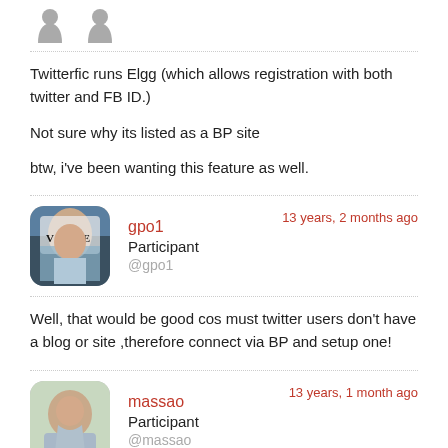[Figure (illustration): Two small grey user avatar icons at the top left]
Twitterfic runs Elgg (which allows registration with both twitter and FB ID.)

Not sure why its listed as a BP site

btw, i've been wanting this feature as well.
13 years, 2 months ago
[Figure (photo): Profile photo of gpo1, a woman reading a Vogue magazine, rounded square avatar]
gpo1
Participant
@gpo1
Well, that would be good cos must twitter users don't have a blog or site ,therefore connect via BP and setup one!
13 years, 1 month ago
[Figure (photo): Profile photo of massao, a smiling man, rounded square avatar]
massao
Participant
@massao